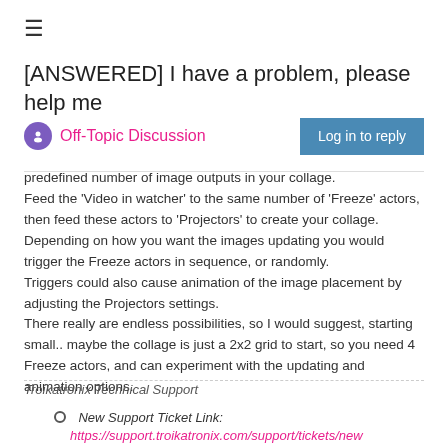≡
[ANSWERED] I have a problem, please help me
Off-Topic Discussion
predefined number of image outputs in your collage.
Feed the 'Video in watcher' to the same number of 'Freeze' actors, then feed these actors to 'Projectors' to create your collage.
Depending on how you want the images updating you would trigger the Freeze actors in sequence, or randomly.
Triggers could also cause animation of the image placement by adjusting the Projectors settings.
There really are endless possibilities, so I would suggest, starting small.. maybe the collage is just a 2x2 grid to start, so you need 4 Freeze actors, and can experiment with the updating and animation options.
Troikatronix Technical Support
New Support Ticket Link: https://support.troikatronix.com/support/tickets/new